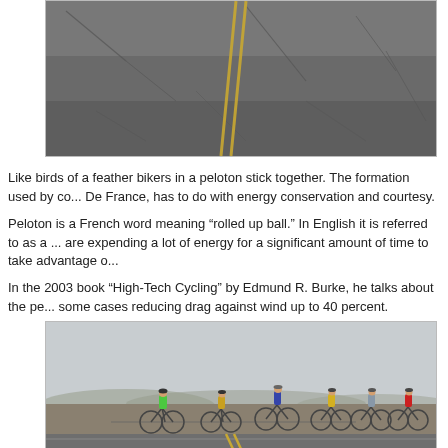[Figure (photo): Aerial view of a cracked asphalt road with yellow center line markings, shot from above at a low angle.]
Like birds of a feather bikers in a peloton stick together. The formation used by co... De France, has to do with energy conservation and courtesy.
Peloton is a French word meaning “rolled up ball.” In English it is referred to as a ... are expending a lot of energy for a significant amount of time to take advantage o...
In the 2003 book “High-Tech Cycling” by Edmund R. Burke, he talks about the pe... some cases reducing drag against wind up to 40 percent.
[Figure (photo): Group of cyclists stopped along a rural road in a flat, hazy landscape. Several riders in colorful jerseys with their bicycles, standing on the roadside.]